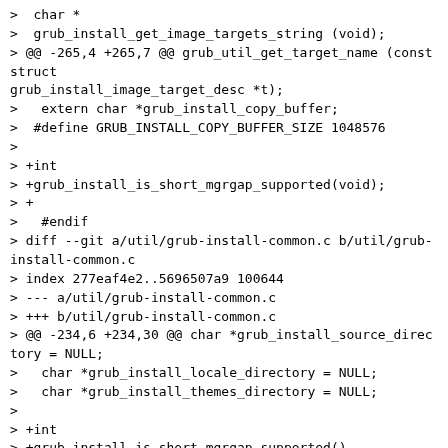>  char *
>  grub_install_get_image_targets_string (void);
> @@ -265,4 +265,7 @@ grub_util_get_target_name (const struct
> grub_install_image_target_desc *t);
>   extern char *grub_install_copy_buffer;
>  #define GRUB_INSTALL_COPY_BUFFER_SIZE 1048576
> 
> +int
> +grub_install_is_short_mgrgap_supported(void);
> +
>   #endif
> diff --git a/util/grub-install-common.c b/util/grub-install-common.c
> index 277eaf4e2..5696507a9 100644
> --- a/util/grub-install-common.c
> +++ b/util/grub-install-common.c
> @@ -234,6 +234,30 @@ char *grub_install_source_directory = NULL;
>   char *grub_install_locale_directory = NULL;
>   char *grub_install_themes_directory = NULL;
> 
> +int
> +grub_install_is_short_mgrgap_supported()
> +{